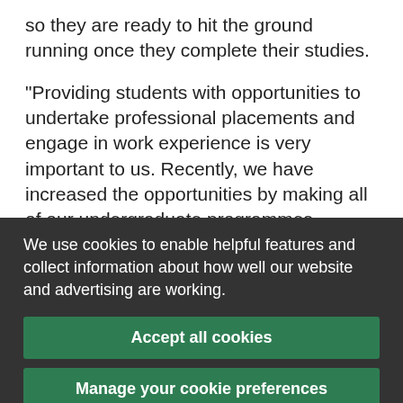so they are ready to hit the ground running once they complete their studies.
“Providing students with opportunities to undertake professional placements and engage in work experience is very important to us. Recently, we have increased the opportunities by making all of our undergraduate programmes available with a professional placement
We use cookies to enable helpful features and collect information about how well our website and advertising are working.
Accept all cookies
Manage your cookie preferences